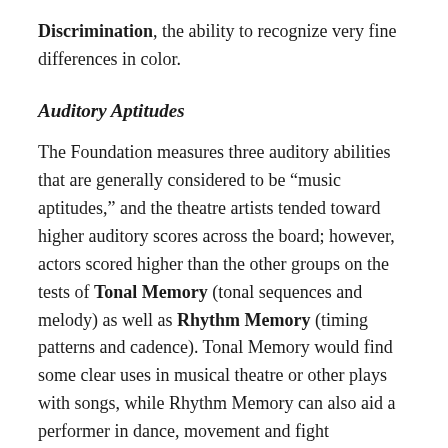Discrimination, the ability to recognize very fine differences in color.
Auditory Aptitudes
The Foundation measures three auditory abilities that are generally considered to be “music aptitudes,” and the theatre artists tended toward higher auditory scores across the board; however, actors scored higher than the other groups on the tests of Tonal Memory (tonal sequences and melody) as well as Rhythm Memory (timing patterns and cadence). Tonal Memory would find some clear uses in musical theatre or other plays with songs, while Rhythm Memory can also aid a performer in dance, movement and fight choreography, and comedic timing. Additionally, auditory aptitudes may help actors during the process of